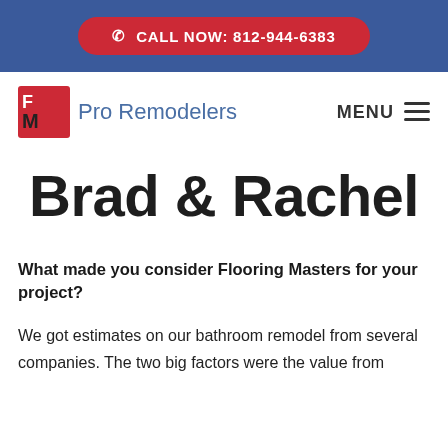CALL NOW: 812-944-6383
[Figure (logo): FM Pro Remodelers logo with red square FM monogram and blue text]
MENU
Brad & Rachel
What made you consider Flooring Masters for your project?
We got estimates on our bathroom remodel from several companies. The two big factors were the value from